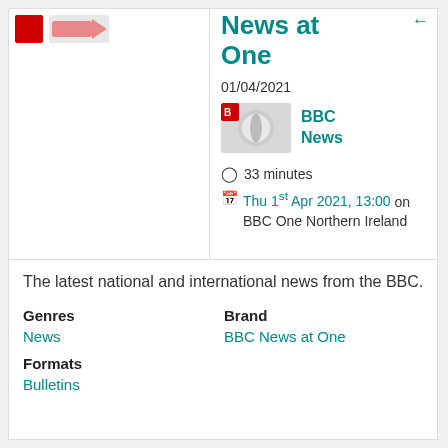News at One
01/04/2021
BBC News
33 minutes
Thu 1st Apr 2021, 13:00 on BBC One Northern Ireland
The latest national and international news from the BBC.
Genres
News
Brand
BBC News at One
Formats
Bulletins